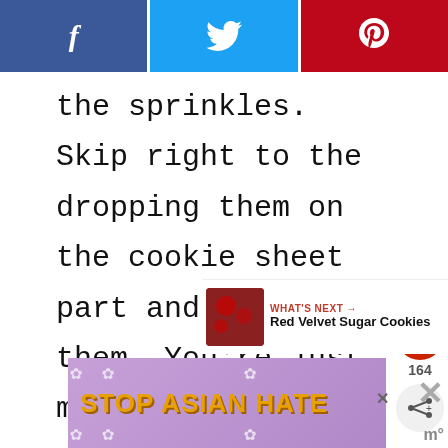[Figure (screenshot): Social media share bar with Facebook (blue), Twitter (light blue), and Pinterest (red) buttons with their respective icons]
the sprinkles. Skip right to the dropping them on the cookie sheet part and bake them. You’re just making Drop Cream Cheese Sugar Cookies and they will still taste FABULOUS!
[Figure (infographic): Like button (heart icon, red circle) showing 164 likes and a share button below it]
[Figure (infographic): What's Next widget with Red Velvet Sugar Cookies thumbnail and label]
[Figure (infographic): Stop Asian Hate advertisement banner with orange bold text on purple floral background]